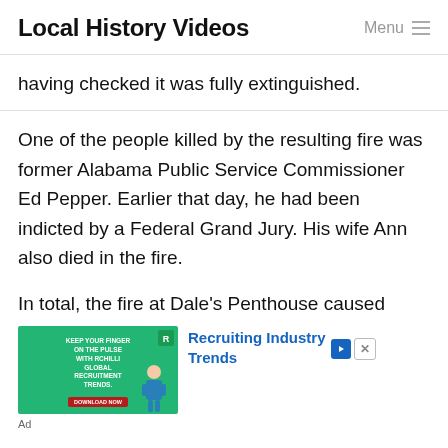Local History Videos
having checked it was fully extinguished.
One of the people killed by the resulting fire was former Alabama Public Service Commissioner Ed Pepper. Earlier that day, he had been indicted by a Federal Grand Jury. His wife Ann also died in the fire.
In total, the fire at Dale’s Penthouse caused
[Figure (infographic): Advertisement: RChilli Global Recruitment Trends with teal background and figure illustration. Text reads: KEEP YOUR FINGER ON THE PULSE WITH RCHILLI GLOBAL RECRUITMENT TRENDS. Recruiting Industry Trends label with play and close buttons.]
Ad